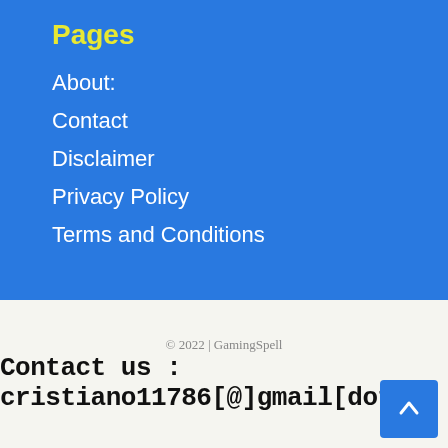Pages
About:
Contact
Disclaimer
Privacy Policy
Terms and Conditions
© 2022 | GamingSpell
Contact us : cristiano11786[@]gmail[dot]com